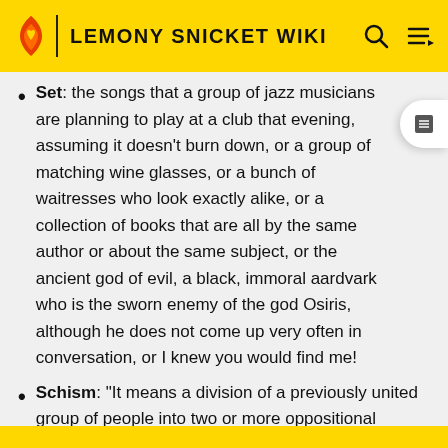LEMONY SNICKET WIKI
Set: the songs that a group of jazz musicians are planning to play at a club that evening, assuming it doesn't burn down, or a group of matching wine glasses, or a bunch of waitresses who look exactly alike, or a collection of books that are all by the same author or about the same subject, or the ancient god of evil, a black, immoral aardvark who is the sworn enemy of the god Osiris, although he does not come up very often in conversation, or I knew you would find me!
Schism: "It means a division of a previously united group of people into two or more oppositional parties. It's like a big argument, with everybody choosing sides."
Seen through their ruse: realized who they really